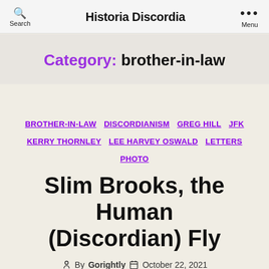Search | Historia Discordia | Menu
Category: brother-in-law
BROTHER-IN-LAW  DISCORDIANISM  GREG HILL  JFK  KERRY THORNLEY  LEE HARVEY OSWALD  LETTERS  PHOTO
Slim Brooks, the Human (Discordian) Fly
By Gorightly  October 22, 2021
No Comments